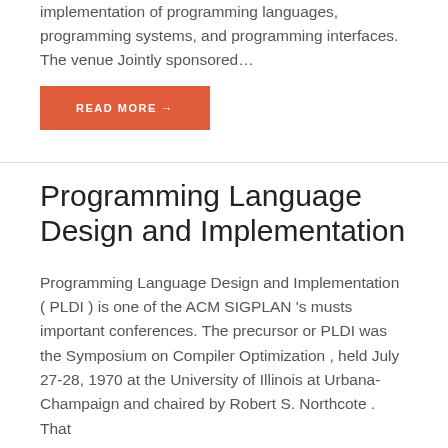implementation of programming languages, programming systems, and programming interfaces. The venue Jointly sponsored…
READ MORE →
Programming Language Design and Implementation
Programming Language Design and Implementation ( PLDI ) is one of the ACM SIGPLAN 's musts important conferences. The precursor or PLDI was the Symposium on Compiler Optimization , held July 27-28, 1970 at the University of Illinois at Urbana-Champaign and chaired by Robert S. Northcote . That